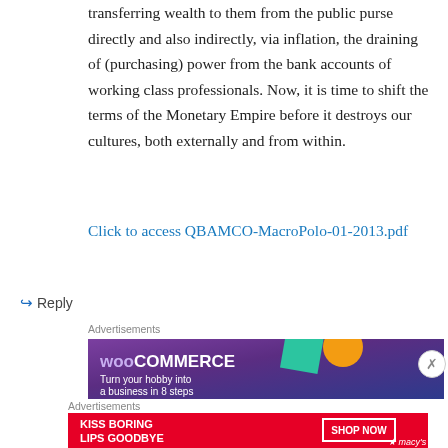transferring wealth to them from the public purse directly and also indirectly, via inflation, the draining of (purchasing) power from the bank accounts of working class professionals. Now, it is time to shift the terms of the Monetary Empire before it destroys our cultures, both externally and from within.
Click to access QBAMCO-MacroPolo-01-2013.pdf
↪ Reply
Advertisements
[Figure (infographic): WooCommerce advertisement banner: purple/dark gradient background with teal and orange shapes, showing WooCommerce logo and text 'Turn your hobby into a business in 8 steps']
Advertisements
[Figure (infographic): Macy's advertisement banner in red: 'KISS BORING LIPS GOODBYE' with 'SHOP NOW' button and Macy's star logo, featuring a model's face on the right side]